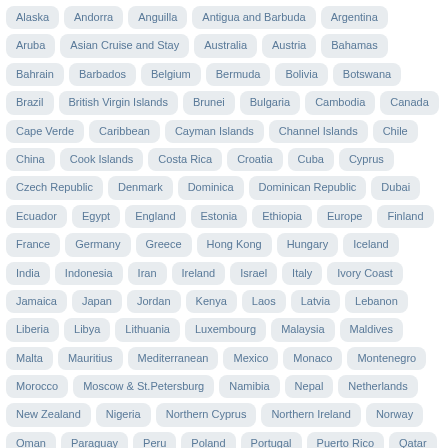Alaska
Andorra
Anguilla
Antigua and Barbuda
Argentina
Aruba
Asian Cruise and Stay
Australia
Austria
Bahamas
Bahrain
Barbados
Belgium
Bermuda
Bolivia
Botswana
Brazil
British Virgin Islands
Brunei
Bulgaria
Cambodia
Canada
Cape Verde
Caribbean
Cayman Islands
Channel Islands
Chile
China
Cook Islands
Costa Rica
Croatia
Cuba
Cyprus
Czech Republic
Denmark
Dominica
Dominican Republic
Dubai
Ecuador
Egypt
England
Estonia
Ethiopia
Europe
Finland
France
Germany
Greece
Hong Kong
Hungary
Iceland
India
Indonesia
Iran
Ireland
Israel
Italy
Ivory Coast
Jamaica
Japan
Jordan
Kenya
Laos
Latvia
Lebanon
Liberia
Libya
Lithuania
Luxembourg
Malaysia
Maldives
Malta
Mauritius
Mediterranean
Mexico
Monaco
Montenegro
Morocco
Moscow & St.Petersburg
Namibia
Nepal
Netherlands
New Zealand
Nigeria
Northern Cyprus
Northern Ireland
Norway
Oman
Paraguay
Peru
Poland
Portugal
Puerto Rico
Qatar
Reunion
Romania
Russia
Saudi Arabia
Scotland
Senegal